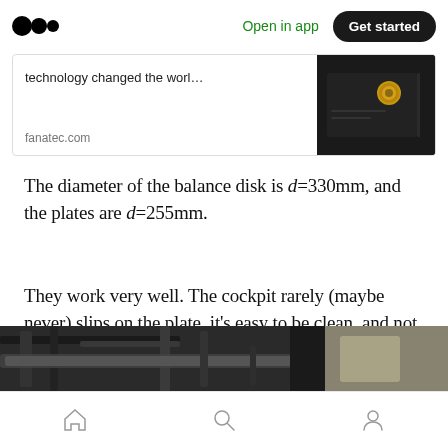Open in app  Get started
[Figure (screenshot): Link card showing 'technology changed the worl...' from fanatec.com with a product image of a black device with gold connector on the right]
The diameter of the balance disk is d=330mm, and the plates are d=255mm.
They work very well. The cockpit rarely (maybe never) slips on the plate, it’s easy to be clean, and not ugly.
[Figure (photo): Partial photo of a racing cockpit setup showing black frame and components]
Home  Search  Profile navigation icons